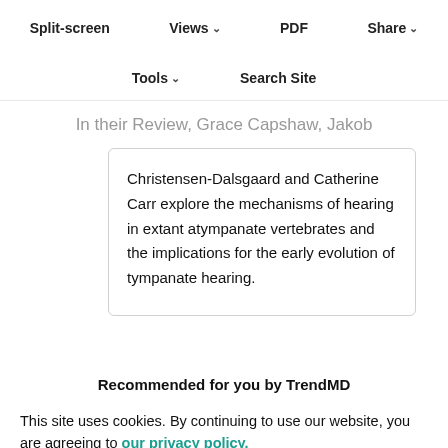Split-screen | Views | PDF | Share
Tools | Search Site
In their Review, Grace Capshaw, Jakob Christensen-Dalsgaard and Catherine Carr explore the mechanisms of hearing in extant atympanate vertebrates and the implications for the early evolution of tympanate hearing.
Recommended for you by TrendMD
This site uses cookies. By continuing to use our website, you are agreeing to our privacy policy. Accept